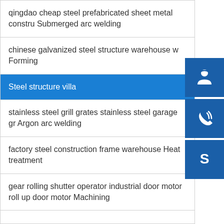qingdao cheap steel prefabricated sheet metal constru Submerged arc welding
chinese galvanized steel structure warehouse w Forming
Steel structure villa
stainless steel grill grates stainless steel garage gr Argon arc welding
factory steel construction frame warehouse Heat treatment
gear rolling shutter operator industrial door motor roll up door motor Machining
[Figure (illustration): Three blue sidebar buttons: headset/customer support icon, phone/call icon, and Skype icon]